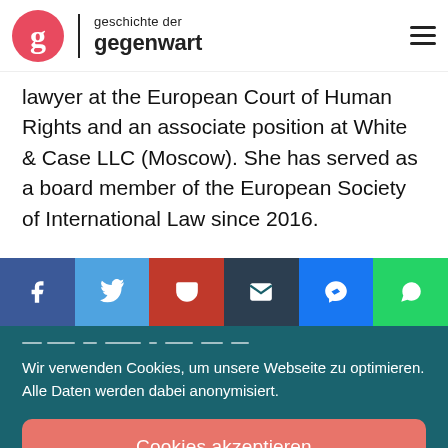geschichte der gegenwart
lawyer at the European Court of Human Rights and an associate position at White & Case LLC (Moscow). She has served as a board member of the European Society of International Law since 2016.
[Figure (infographic): Social share bar with buttons: Facebook, Twitter, Pocket, Email, Messenger, WhatsApp]
Wir verwenden Cookies, um unsere Webseite zu optimieren. Alle Daten werden dabei anonymisiert.
Cookies akzeptieren
Einstellungen anzeigen